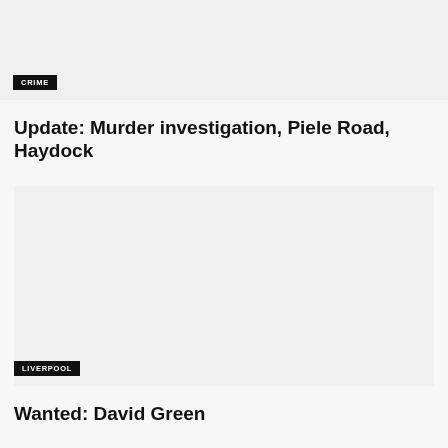[Figure (photo): Gray placeholder image for a crime news article]
CRIME
Update: Murder investigation, Piele Road, Haydock
[Figure (photo): Gray placeholder image for a Liverpool news article]
LIVERPOOL
Wanted: David Green
[Figure (photo): Gray placeholder image at bottom of page]